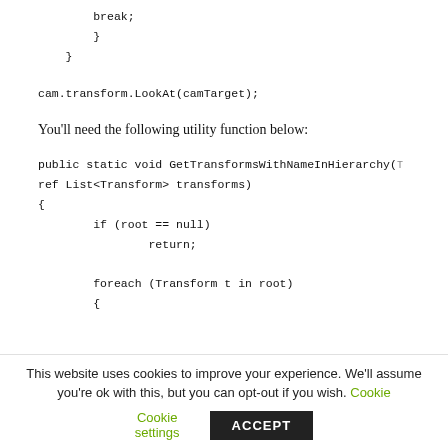break;
        }
    }
cam.transform.LookAt(camTarget);
You'll need the following utility function below:
public static void GetTransformsWithNameInHierarchy(
ref List<Transform> transforms)
{
        if (root == null)
                return;

        foreach (Transform t in root)
        {
This website uses cookies to improve your experience. We'll assume you're ok with this, but you can opt-out if you wish. Cookie settings ACCEPT